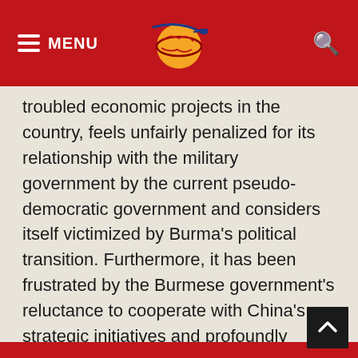MENU
troubled economic projects in the country, feels unfairly penalized for its relationship with the military government by the current pseudo-democratic government and considers itself victimized by Burma's political transition. Furthermore, it has been frustrated by the Burmese government's reluctance to cooperate with China's strategic initiatives and profoundly disturbed by the Burma Army's audacity in attacking Chinese territory during its conflicts with ethnic minorities on the border.